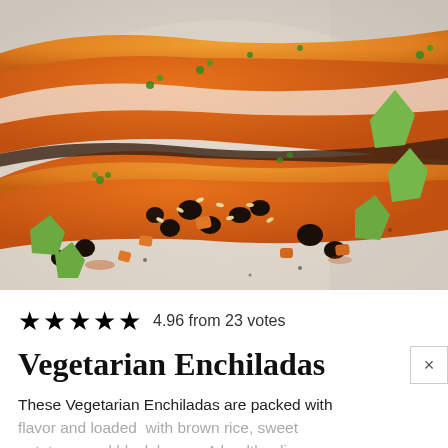[Figure (photo): Close-up photo of vegetarian enchiladas on a white plate, showing rolled tortillas covered in orange enchilada sauce and melted cheese, with filling of black beans, diced sweet potatoes, and rice spilling out, garnished with avocado chunks and fresh cilantro.]
★★★★★ 4.96 from 23 votes
Vegetarian Enchiladas
These Vegetarian Enchiladas are packed with flavor and loaded  with brown rice, sweet potatoes, and black beans. A healthy dinner your